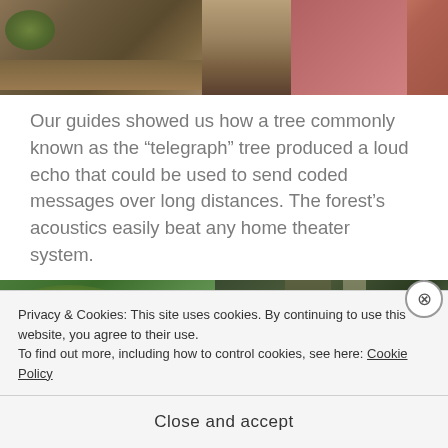[Figure (photo): Top photo strip showing a frog camouflaged on leaf litter on the left, sandy/dirt ground in the middle, and a person wearing a red shirt on the right]
Our guides showed us how a tree commonly known as the “telegraph” tree produced a loud echo that could be used to send coded messages over long distances. The forest’s acoustics easily beat any home theater system.
[Figure (photo): Bottom photo strip showing lush tropical forest vegetation with palm fronds on the left and a large dark tree trunk with surrounding foliage on the right]
Privacy & Cookies: This site uses cookies. By continuing to use this website, you agree to their use.
To find out more, including how to control cookies, see here: Cookie Policy
Close and accept